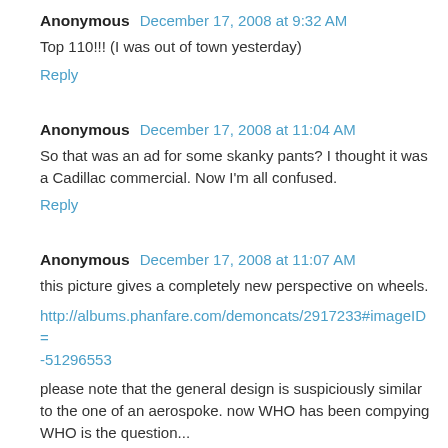Anonymous December 17, 2008 at 9:32 AM
Top 110!!! (I was out of town yesterday)
Reply
Anonymous December 17, 2008 at 11:04 AM
So that was an ad for some skanky pants? I thought it was a Cadillac commercial. Now I'm all confused.
Reply
Anonymous December 17, 2008 at 11:07 AM
this picture gives a completely new perspective on wheels.
http://albums.phanfare.com/demoncats/2917233#imageID=-51296553
please note that the general design is suspiciously similar to the one of an aerospoke. now WHO has been compying WHO is the question...